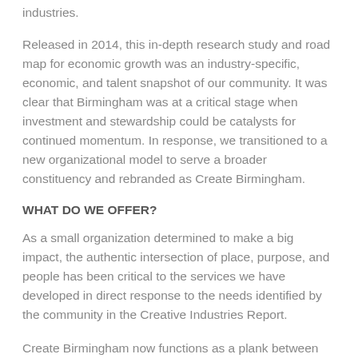industries.
Released in 2014, this in-depth research study and road map for economic growth was an industry-specific, economic, and talent snapshot of our community. It was clear that Birmingham was at a critical stage when investment and stewardship could be catalysts for continued momentum. In response, we transitioned to a new organizational model to serve a broader constituency and rebranded as Create Birmingham.
WHAT DO WE OFFER?
As a small organization determined to make a big impact, the authentic intersection of place, purpose, and people has been critical to the services we have developed in direct response to the needs identified by the community in the Creative Industries Report.
Create Birmingham now functions as a plank between the two ledges of the traditional nonprofit and the commercial enterprise. Our work